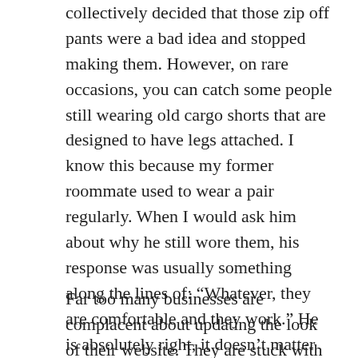collectively decided that those zip off pants were a bad idea and stopped making them. However, on rare occasions, you can catch some people still wearing old cargo shorts that are designed to have legs attached. I know this because my former roommate used to wear a pair regularly. When I would ask him about why he still wore them, his response was usually something along the lines of: “Whatever, they are comfortable and they work.” He is absolutely right, it doesn’t matter what you wear when you are grocery shopping on the weekends. However, it can be problematic when you apply the same logic to your website.
Far too many businesses are complacent about updating the look of their website. They are stuck with their old “zip-off pants” version simply